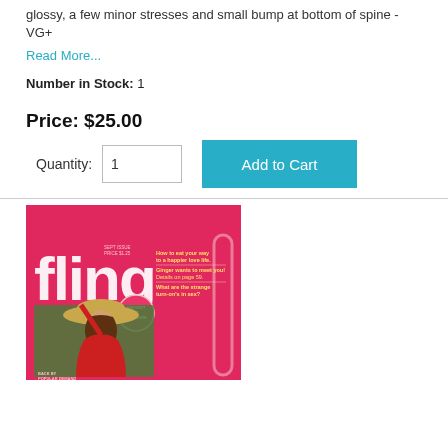glossy, a few minor stresses and small bump at bottom of spine - VG+
Read More...
Number in Stock: 1
Price: $25.00
Quantity: 1  Add to Cart
[Figure (photo): Magazine cover of 'fling' magazine. Hot pink/magenta background. Large stylized white 'fling' logo text. Headline text reads: 'How to eat your way to a happier love life.', 'Ginger wants to meet you! Details on page 59.', 'What are the strange turn-on's in sex?'. Small text 'SEPT ISSUE PRICE $1.25'. A woman wearing a straw hat and red outfit is pictured on the cover. Bottom text: 'BACK BY POPULAR DEMAND'. Badge reads 'PRESENT TO PLEASURE'.]